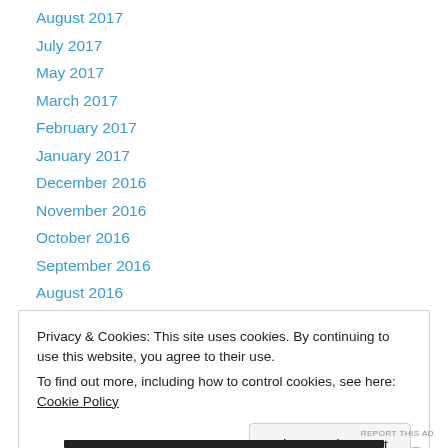August 2017
July 2017
May 2017
March 2017
February 2017
January 2017
December 2016
November 2016
October 2016
September 2016
August 2016
July 2016
June 2016
Privacy & Cookies: This site uses cookies. By continuing to use this website, you agree to their use.
To find out more, including how to control cookies, see here: Cookie Policy
Close and accept